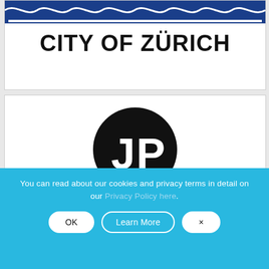[Figure (logo): City of Zürich municipal sign — blue header with decorative white wave pattern, bold white horizontal line, and large bold black text reading CITY OF ZÜRICH on white background]
CITY OF ZÜRICH
[Figure (logo): JP circular logo — black circle with white letters JP in bold sans-serif]
You can read about our cookies and privacy terms in detail on our Privacy Policy here.
OK
Learn More
×